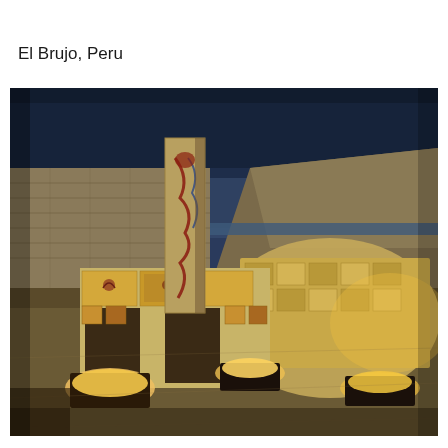El Brujo, Peru
[Figure (photo): Night photograph of El Brujo archaeological site in Peru. The image shows illuminated ancient Moche temple ruins with ornately decorated adobe friezes featuring painted murals and relief carvings. A tall carved stone/adobe stela stands in the center. The ruins are dramatically lit from below by warm artificial lights, revealing intricate geometric and figurative patterns on the walls. In the background, the cliff face and Pacific Ocean are visible under a dark blue evening sky.]